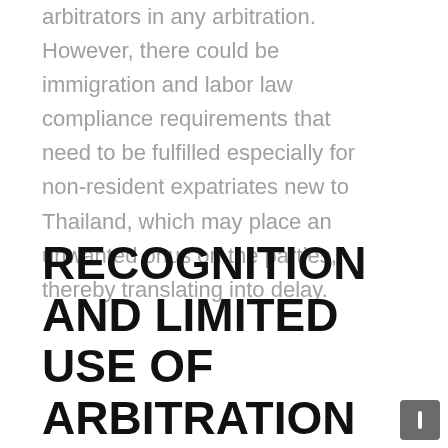arbitrators in any arbitration. However, there could be immigration and labor law compliance requirements that need to be fulfilled especially for non-resident expatriates new to Thailand, which may place an unwanted onus on the parties, thereby translating into delay.
RECOGNITION AND LIMITED USE OF ARBITRATION IN